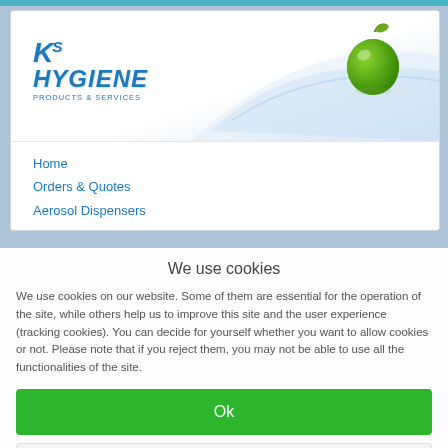[Figure (logo): KS Hygiene Products & Services logo with a green apple graphic and blue swoosh curves on a white/light blue gradient background]
Home
Orders & Quotes
Aerosol Dispensers
We use cookies
We use cookies on our website. Some of them are essential for the operation of the site, while others help us to improve this site and the user experience (tracking cookies). You can decide for yourself whether you want to allow cookies or not. Please note that if you reject them, you may not be able to use all the functionalities of the site.
Ok
Decline